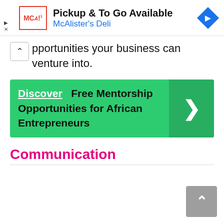[Figure (screenshot): Advertisement banner for McAlister's Deli showing 'Pickup & To Go Available' with logo and navigation arrow icon]
opportunities your business can venture into.
[Figure (infographic): Green banner with text: Discover Free Mentorship Opportunities for African Entrepreneurs, with a right arrow button on the right side]
Communication